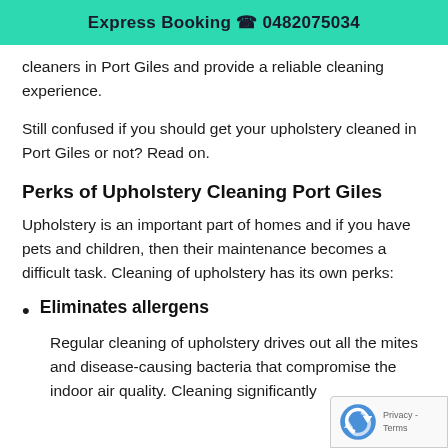Express Booking 📞 0482075034
cleaners in Port Giles and provide a reliable cleaning experience.
Still confused if you should get your upholstery cleaned in Port Giles or not? Read on.
Perks of Upholstery Cleaning Port Giles
Upholstery is an important part of homes and if you have pets and children, then their maintenance becomes a difficult task. Cleaning of upholstery has its own perks:
Eliminates allergens
Regular cleaning of upholstery drives out all the mites and disease-causing bacteria that compromise the indoor air quality. Cleaning significantly